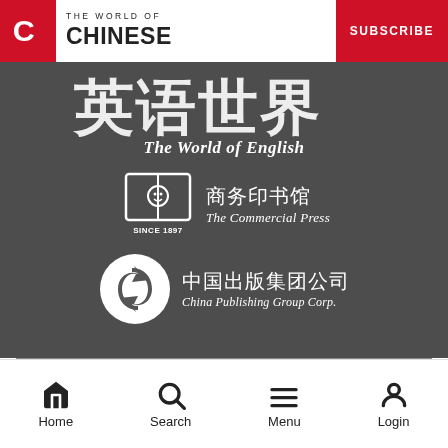THE WORLD OF CHINESE
[Figure (logo): The World of Chinese magazine logo with red C icon and text]
SUBSCRIBE
[Figure (illustration): Chinese calligraphy characters for 'The World of English' (英语世界) in white on dark grey background]
The World of English
[Figure (logo): The Commercial Press logo - book icon with SINCE 1897 and Chinese characters 商务印书馆]
[Figure (logo): China Publishing Group Corp. logo - circular arrow icon with Chinese characters 中国出版集团公司]
[Figure (infographic): Social media icons: Facebook, Twitter, LinkedIn, Weibo, WeChat]
Home Search Menu Login